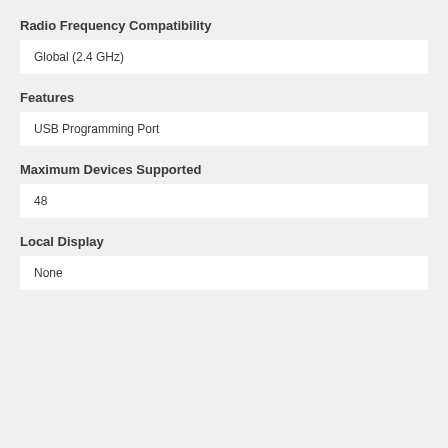Radio Frequency Compatibility
Global (2.4 GHz)
Features
USB Programming Port
Maximum Devices Supported
48
Local Display
None